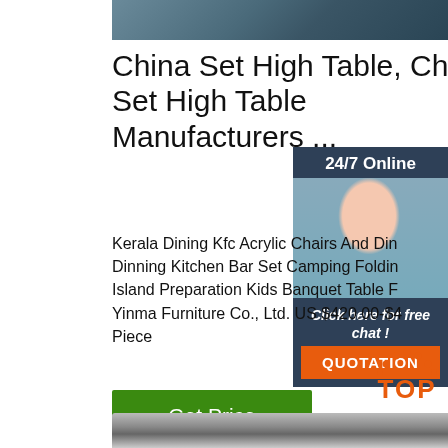[Figure (photo): Top decorative image strip with dark textured background]
China Set High Table, China Set High Table Manufacturers ...
Kerala Dining Kfc Acrylic Chairs And Din Dinning Kitchen Bar Set Camping Foldin Island Preparation Kids Banquet Table F Yinma Furniture Co., Ltd. US $420.00-$4 Piece
[Figure (photo): 24/7 Online chat widget with photo of smiling woman with headset, Click here for free chat, and QUOTATION button]
[Figure (illustration): Green Get Price button]
[Figure (logo): TOP logo with orange dots arc and orange text]
[Figure (photo): Bottom decorative image strip with metallic bars]